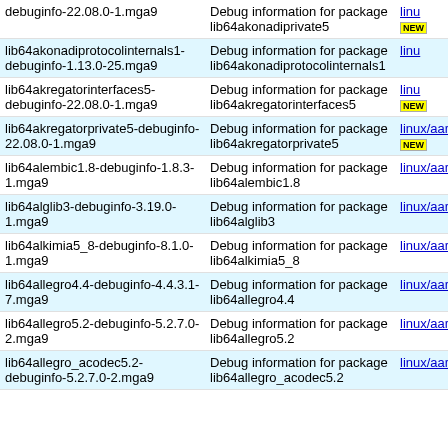| Package | Description | Link |
| --- | --- | --- |
| debuginfo-22.08.0-1.mga9 | Debug information for package lib64akonadiprivate5 | linux/aarch64- NEW |
| lib64akonadiprotocolinternals1-debuginfo-1.13.0-25.mga9 | Debug information for package lib64akonadiprotocolinternals1 | linu |
| lib64akregatorinterfaces5-debuginfo-22.08.0-1.mga9 | Debug information for package lib64akregatorinterfaces5 | linu NEW |
| lib64akregatorprivate5-debuginfo-22.08.0-1.mga9 | Debug information for package lib64akregatorprivate5 | linux/aarch64- NEW |
| lib64alembic1.8-debuginfo-1.8.3-1.mga9 | Debug information for package lib64alembic1.8 | linux/aarch64- |
| lib64alglib3-debuginfo-3.19.0-1.mga9 | Debug information for package lib64alglib3 | linux/aarch64- |
| lib64alkimia5_8-debuginfo-8.1.0-1.mga9 | Debug information for package lib64alkimia5_8 | linux/aarch64- |
| lib64allegro4.4-debuginfo-4.4.3.1-7.mga9 | Debug information for package lib64allegro4.4 | linux/aarch64- |
| lib64allegro5.2-debuginfo-5.2.7.0-2.mga9 | Debug information for package lib64allegro5.2 | linux/aarch64- |
| lib64allegro_acodec5.2-debuginfo-5.2.7.0-2.mga9 | Debug information for package lib64allegro_acodec5.2 | linux/aarch64- |